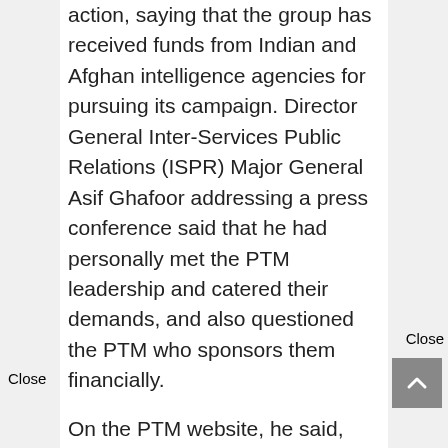action, saying that the group has received funds from Indian and Afghan intelligence agencies for pursuing its campaign. Director General Inter-Services Public Relations (ISPR) Major General Asif Ghafoor addressing a press conference said that he had personally met the PTM leadership and catered their demands, and also questioned the PTM who sponsors them financially.
On the PTM website, he said, they have stated the amount of funds that has been collected from Pashtuns across the world. "But let me ask how much NDS [National Directorate of Security] and Afghan intelligence agency finance you [PTM] to run your campaign and how much Indian RAW sponsored you for the first sit-in in Islamabad?' he asked.